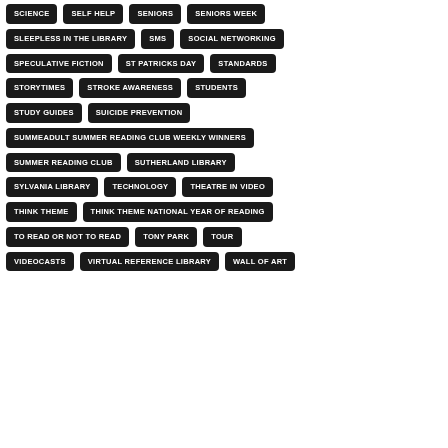SCIENCE
SELF HELP
SENIORS
SENIORS WEEK
SLEEPLESS IN THE LIBRARY
SMS
SOCIAL NETWORKING
SPECULATIVE FICTION
ST PATRICKS DAY
STANDARDS
STORYTIMES
STROKE AWARENESS
STUDENTS
STUDY GUIDES
SUICIDE PREVENTION
SUMMEADULT SUMMER READING CLUB WEEKLY WINNERS
SUMMER READING CLUB
SUTHERLAND LIBRARY
SYLVANIA LIBRARY
TECHNOLOGY
THEATRE IN VIDEO
THINK THEME
THINK THEME NATIONAL YEAR OF READING
TO READ OR NOT TO READ
TONY PARK
TOUR
VIDEOCASTS
VIRTUAL REFERENCE LIBRARY
WALL OF ART